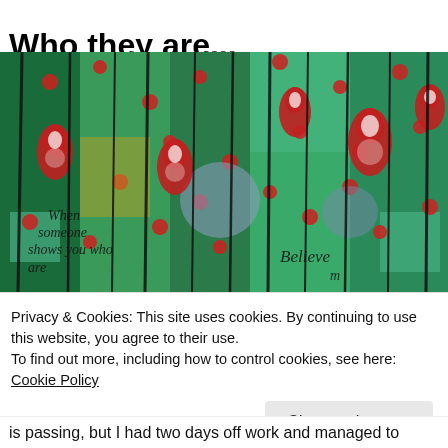Who they are...
[Figure (photo): Colorful artwork with matryoshka doll motifs in red and white on green/teal background with black vertical drips, text overlaid reading 'When someone shows you who' and 'Believe']
Privacy & Cookies: This site uses cookies. By continuing to use this website, you agree to their use.
To find out more, including how to control cookies, see here: Cookie Policy
Close and accept
is passing, but I had two days off work and managed to